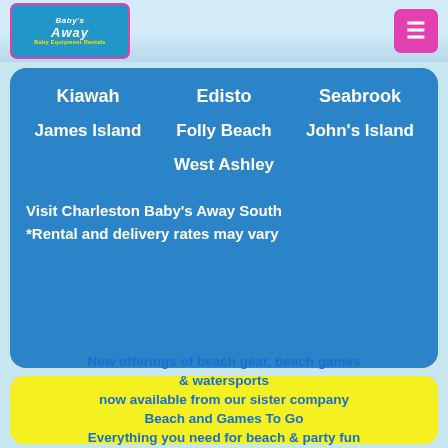Baby's Away Charleston - Baby Equipment Rentals
Kiawah
Edisto
Seabrook
James Island
Folly Beach
John's Island
West Ashley
Visit Charleston Baby's Away South
*Rental and delivery rates may vary
New offerings of beach gear, beach games & watersports now available from our sister company Beach and Games To Go Everything you need for beach & party fun in the sun!